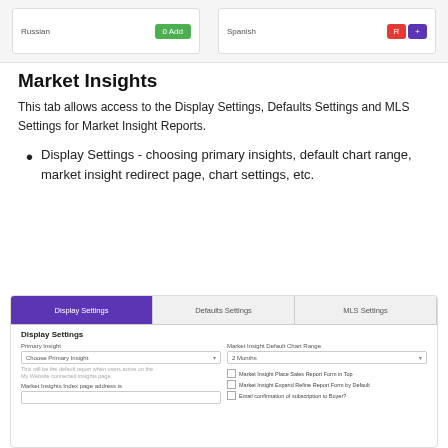[Figure (screenshot): Top portion of a UI showing two panels: left panel with 'Russian' label and a green '0 Add' button; right panel with 'Spanish' label and red 'R' and purple '+' buttons.]
Market Insights
This tab allows access to the Display Settings, Defaults Settings and MLS Settings for Market Insight Reports.
Display Settings - choosing primary insights, default chart range, market insight redirect page, chart settings, etc.
[Figure (screenshot): A UI panel showing three tabs: 'Display Settings' (active, purple), 'Defaults Settings', and 'MLS Settings'. Below the tabs is a 'Display Settings' section with fields: 'Primary Insight' (dropdown: Choose Primary Insight), 'Market Insight Default Chart Range' (dropdown: 2 Months), helper text, 'Market Insights Index page address is' field, and checkboxes for Market Insight options.]